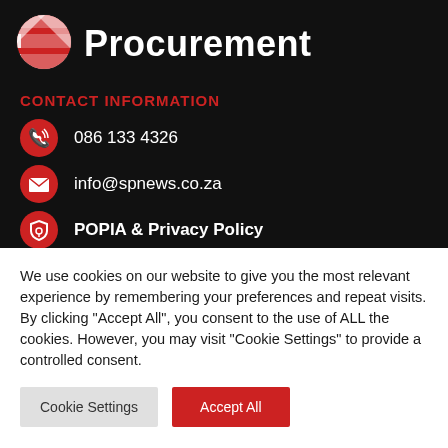[Figure (logo): Red and white striped circular logo (SP News / Procurement)]
Procurement
CONTACT INFORMATION
086 133 4326
info@spnews.co.za
POPIA & Privacy Policy
We use cookies on our website to give you the most relevant experience by remembering your preferences and repeat visits. By clicking "Accept All", you consent to the use of ALL the cookies. However, you may visit "Cookie Settings" to provide a controlled consent.
Cookie Settings | Accept All